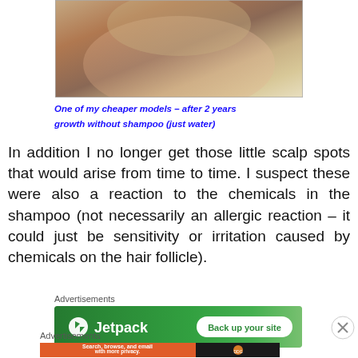[Figure (photo): Close-up photo of a person's head showing blonde/white hair from behind, demonstrating hair growth after 2 years without shampoo]
One of my cheaper models – after 2 years growth without shampoo (just water)
In addition I no longer get those little scalp spots that would arise from time to time. I suspect these were also a reaction to the chemicals in the shampoo (not necessarily an allergic reaction – it could just be sensitivity or irritation caused by chemicals on the hair follicle).
Advertisements
[Figure (screenshot): Jetpack advertisement banner: green background with Jetpack logo and 'Back up your site' button]
Advertisements
[Figure (screenshot): DuckDuckGo advertisement: orange background with text 'Search, browse, and email with more privacy. All in One Free App' and DuckDuckGo logo on dark background]